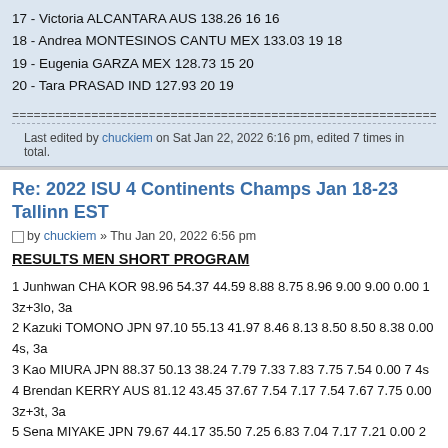17 - Victoria ALCANTARA AUS 138.26 16 16
18 - Andrea MONTESINOS CANTU MEX 133.03 19 18
19 - Eugenia GARZA MEX 128.73 15 20
20 - Tara PRASAD IND 127.93 20 19
================================================================
Last edited by chuckiem on Sat Jan 22, 2022 6:16 pm, edited 7 times in total.
Re: 2022 ISU 4 Continents Champs Jan 18-23 Tallinn EST
by chuckiem » Thu Jan 20, 2022 6:56 pm
RESULTS MEN SHORT PROGRAM
1 Junhwan CHA KOR 98.96 54.37 44.59 8.88 8.75 8.96 9.00 9.00 0.00 1 3z+3lo, 3a
2 Kazuki TOMONO JPN 97.10 55.13 41.97 8.46 8.13 8.50 8.50 8.38 0.00 4s, 3a
3 Kao MIURA JPN 88.37 50.13 38.24 7.79 7.33 7.83 7.75 7.54 0.00 7 4s
4 Brendan KERRY AUS 81.12 43.45 37.67 7.54 7.17 7.54 7.67 7.75 0.00 3z+3t, 3a
5 Sena MIYAKE JPN 79.67 44.17 35.50 7.25 6.83 7.04 7.17 7.21 0.00 2 3z!+3t
6 Sihyeong LEE KOR 79.13 44.17 34.96 7.13 6.83 7.04 7.13 6.83 0.00 1